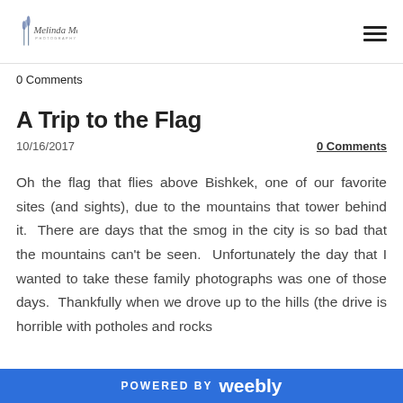Melinda Mae Photography — navigation logo and menu
0 Comments
A Trip to the Flag
10/16/2017
0 Comments
Oh the flag that flies above Bishkek, one of our favorite sites (and sights), due to the mountains that tower behind it.  There are days that the smog in the city is so bad that the mountains can't be seen.  Unfortunately the day that I wanted to take these family photographs was one of those days.  Thankfully when we drove up to the hills (the drive is horrible with potholes and rocks
POWERED BY weebly